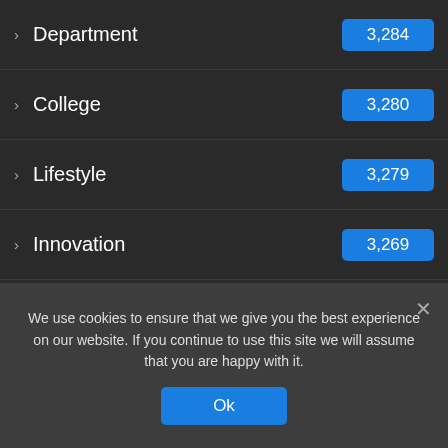Department 3,284
College 3,280
Lifestyle 3,279
Innovation 3,269
Business 3,268
School 3,260
Students 3,260
Learn Languages 3,257
Tourism 3,256
Markets 3,247
We use cookies to ensure that we give you the best experience on our website. If you continue to use this site we will assume that you are happy with it.
Ok